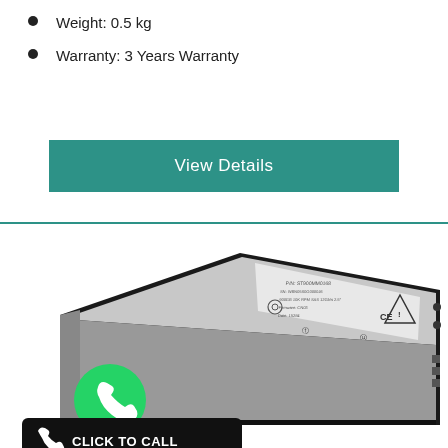Weight: 0.5 kg
Warranty: 3 Years Warranty
View Details
[Figure (photo): Photo of a 2.5-inch hard disk drive (HDD) with black frame and silver label showing certification marks and serial numbers, with a WhatsApp icon and CLICK TO CALL button overlaid in the lower left.]